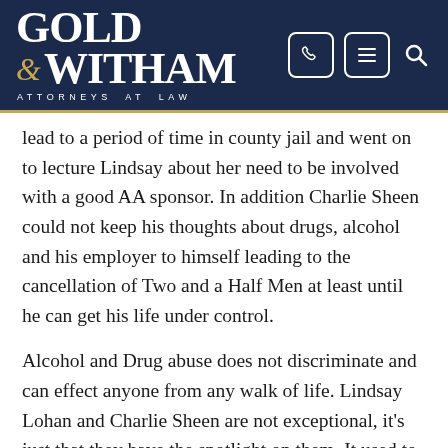Gold & Witham Attorneys at Law — navigation header with phone, menu, and search icons
lead to a period of time in county jail and went on to lecture Lindsay about her need to be involved with a good AA sponsor. In addition Charlie Sheen could not keep his thoughts about drugs, alcohol and his employer to himself leading to the cancellation of Two and a Half Men at least until he can get his life under control.
Alcohol and Drug abuse does not discriminate and can effect anyone from any walk of life. Lindsay Lohan and Charlie Sheen are not exceptional, it's just that they have the spotlight on them. It used to be